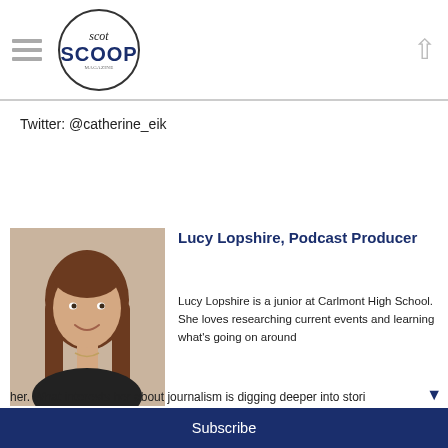Scot Scoop
Twitter: @catherine_eik
[Figure (photo): Headshot photo of Lucy Lopshire, a young woman with long brown hair, wearing a dark top, smiling.]
Lucy Lopshire, Podcast Producer
Lucy Lopshire is a junior at Carlmont High School. She loves researching current events and learning what's going on around her. What interests her about journalism is digging deeper into stori
Subscribe to our weekly e-news letter!
Your email address..
Subscribe